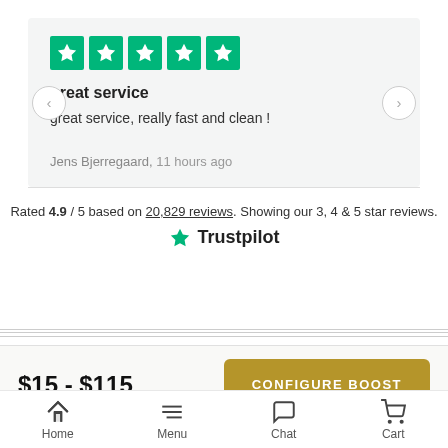[Figure (screenshot): Five green star rating boxes (Trustpilot style) indicating 5-star review]
great service
great service, really fast and clean !
Jens Bjerregaard, 11 hours ago
Rated 4.9 / 5 based on 20,829 reviews. Showing our 3, 4 & 5 star reviews.
[Figure (logo): Trustpilot logo with green star and Trustpilot wordmark]
$15 - $115
CONFIGURE BOOST
Home  Menu  Chat  Cart